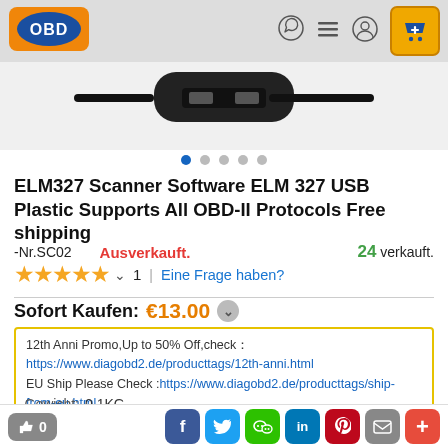[Figure (logo): OBD logo: orange rounded rectangle with OBD text in blue oval]
[Figure (photo): Product photo showing partial view of USB cable/plug against white background]
ELM327 Scanner Software ELM 327 USB Plastic Supports All OBD-II Protocols Free shipping
-Nr.SC02   Ausverkauft.   24 verkauft.
★★★★★ ˅  1  |  Eine Frage haben?
Sofort Kaufen: €13.00 ˅
12th Anni Promo,Up to 50% Off,check：https://www.diagobd2.de/producttags/12th-anni.html
EU Ship Please Check :https://www.diagobd2.de/producttags/ship-from-eu.html
Any help,please contact WhatsApp: +86 15223201143
Gewicht:   0.1KG
Paket:   14cm*11cm*3cm     ( Inch: 5.5*4.32*1.18 )